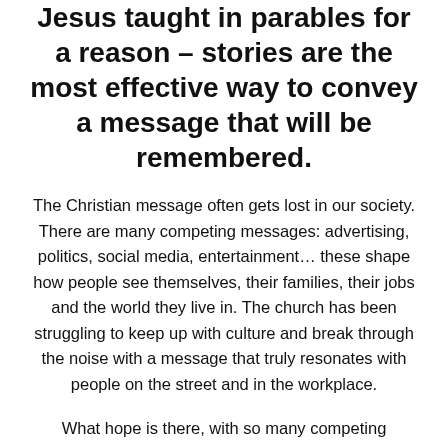Jesus taught in parables for a reason – stories are the most effective way to convey a message that will be remembered.
The Christian message often gets lost in our society. There are many competing messages: advertising, politics, social media, entertainment… these shape how people see themselves, their families, their jobs and the world they live in. The church has been struggling to keep up with culture and break through the noise with a message that truly resonates with people on the street and in the workplace.
What hope is there, with so many competing messages for it to break through this...